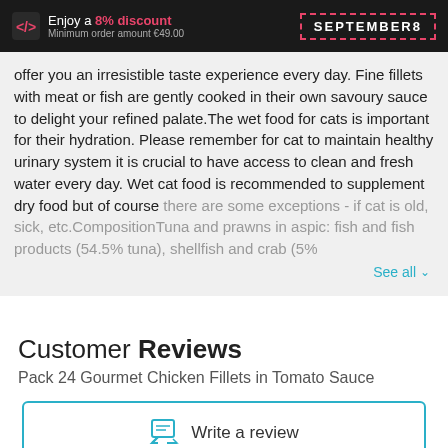Enjoy a 8% discount Minimum order amount €49.00 | SEPTEMBER8
offer you an irresistible taste experience every day. Fine fillets with meat or fish are gently cooked in their own savoury sauce to delight your refined palate.The wet food for cats is important for their hydration. Please remember for cat to maintain healthy urinary system it is crucial to have access to clean and fresh water every day. Wet cat food is recommended to supplement dry food but of course there are some exceptions - if cat is old, sick, etc.CompositionTuna and prawns in aspic: fish and fish products (54.5% tuna), shellfish and crab (5%…
Customer Reviews
Pack 24 Gourmet Chicken Fillets in Tomato Sauce
Write a review